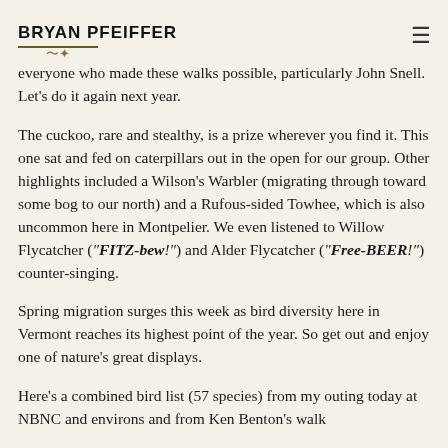BRYAN PFEIFFER
everyone who made these walks possible, particularly John Snell. Let's do it again next year.
The cuckoo, rare and stealthy, is a prize wherever you find it. This one sat and fed on caterpillars out in the open for our group. Other highlights included a Wilson's Warbler (migrating through toward some bog to our north) and a Rufous-sided Towhee, which is also uncommon here in Montpelier. We even listened to Willow Flycatcher ("FITZ-bew!") and Alder Flycatcher ("Free-BEER!") counter-singing.
Spring migration surges this week as bird diversity here in Vermont reaches its highest point of the year. So get out and enjoy one of nature's great displays.
Here's a combined bird list (57 species) from my outing today at NBNC and environs and from Ken Benton's walk